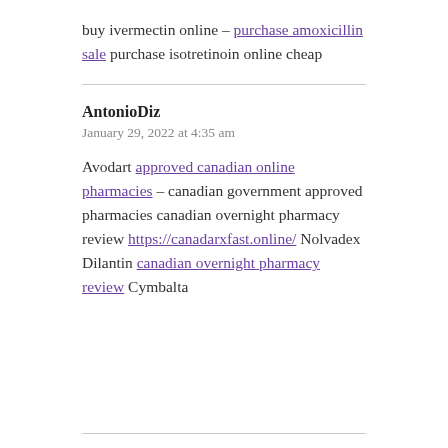buy ivermectin online – purchase amoxicillin sale purchase isotretinoin online cheap
AntonioDiz
January 29, 2022 at 4:35 am
Avodart approved canadian online pharmacies – canadian government approved pharmacies canadian overnight pharmacy review https://canadarxfast.online/ Nolvadex Dilantin canadian overnight pharmacy review Cymbalta